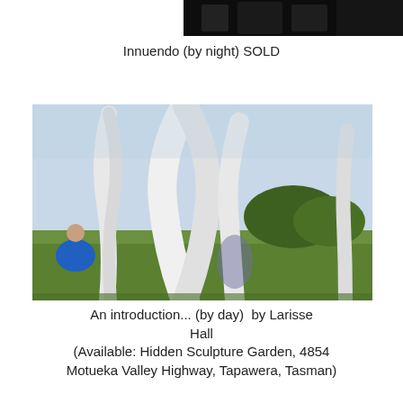[Figure (photo): Partial view of a nighttime photo — dark background, partially cropped at the top of the page]
Innuendo (by night) SOLD
[Figure (photo): Daytime photo of tall white abstract sculptural forms (shaped like elongated leaves or obelisks) standing in a green field with trees and blue sky. A person in a blue shirt is visible on the left. The sculptures are titled 'An introduction... (by day)' by Larisse Hall.]
An introduction... (by day)  by Larisse Hall
(Available: Hidden Sculpture Garden, 4854 Motueka Valley Highway, Tapawera, Tasman)
[Figure (photo): Nighttime photo of the same sculptural forms illuminated from within or below, showing silhouettes of people around glowing white and blue lit sculptures in darkness.]
An introduction... (by night, as originally